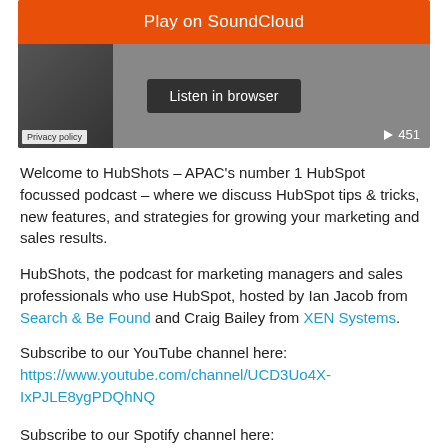[Figure (screenshot): SoundCloud embedded player widget showing 'Play on SoundCloud' orange button at top, 'Listen in browser' button overlay, Privacy policy label at bottom-left, and play count of 451 at bottom-right.]
Welcome to HubShots – APAC's number 1 HubSpot focussed podcast – where we discuss HubSpot tips & tricks, new features, and strategies for growing your marketing and sales results.
HubShots, the podcast for marketing managers and sales professionals who use HubSpot, hosted by Ian Jacob from Search & Be Found and Craig Bailey from XEN Systems.
Subscribe to our YouTube channel here:
https://www.youtube.com/channel/UCD3Uo4X-IxPJLE8ygPDQhNQ
Subscribe to our Spotify channel here: